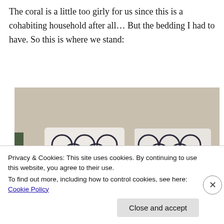The coral is a little too girly for us since this is a cohabiting household after all… But the bedding I had to have. So this is where we stand:
[Figure (photo): A bed made with a white and dark navy/black geometric quatrefoil patterned bedding set, including two matching pillows, photographed in a bedroom with beige walls.]
Privacy & Cookies: This site uses cookies. By continuing to use this website, you agree to their use.
To find out more, including how to control cookies, see here: Cookie Policy